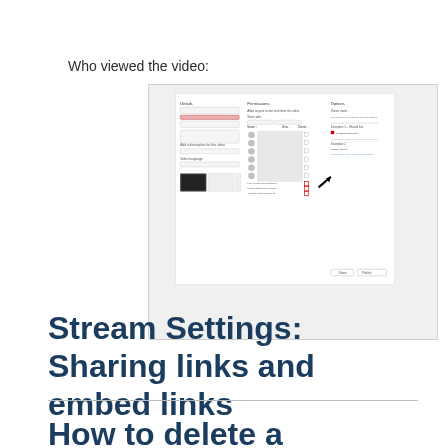Who viewed the video:
[Figure (screenshot): Screenshot of a video sharing settings dialog with three columns: Details, Permissions, and Options. Shows user list with profile icons, checkboxes, and an arrow pointing to a highlighted section. Red-outlined boxes visible in the bottom area.]
Stream Settings: Sharing links and embed links
How to delete a recording